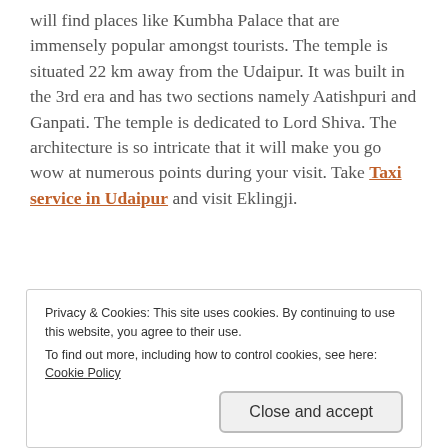will find places like Kumbha Palace that are immensely popular amongst tourists. The temple is situated 22 km away from the Udaipur. It was built in the 3rd era and has two sections namely Aatishpuri and Ganpati. The temple is dedicated to Lord Shiva. The architecture is so intricate that it will make you go wow at numerous points during your visit. Take Taxi service in Udaipur and visit Eklingji.
Fateh Sagar
Privacy & Cookies: This site uses cookies. By continuing to use this website, you agree to their use. To find out more, including how to control cookies, see here: Cookie Policy